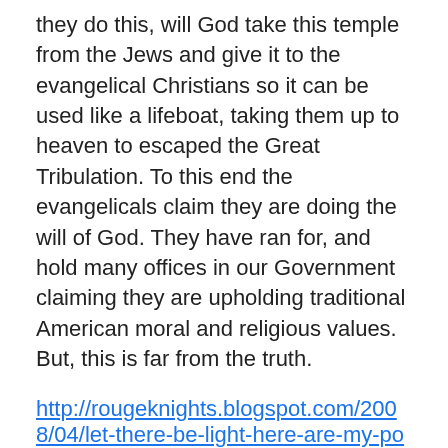they do this, will God take this temple from the Jews and give it to the evangelical Christians so it can be used like a lifeboat, taking them up to heaven to escaped the Great Tribulation. To this end the evangelicals claim they are doing the will of God. They have ran for, and hold many offices in our Government claiming they are upholding traditional American moral and religious values. But, this is far from the truth.
http://rougeknights.blogspot.com/2008/04/let-there-be-light-here-are-my-post-on.\ html
Let there be light